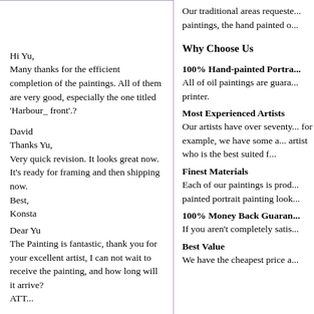Our traditional areas requested paintings, the hand painted o...
Why Choose Us
100% Hand-painted Portra...
All of oil paintings are guara... printer.
Most Experienced Artists
Our artists have over seventy... for example, we have some a... artist who is the best suited f...
Finest Materials
Each of our paintings is prod... painted portrait painting look...
100% Money Back Guaran...
If you aren't completely satis...
Best Value
We have the cheapest price a...
Hi Yu,
Many thanks for the efficient completion of the paintings. All of them are very good, especially the one titled 'Harbour_ front'.?
David
Thanks Yu,
Very quick revision. It looks great now. It's ready for framing and then shipping now.
Best,
Konsta
Dear Yu
The Painting is fantastic, thank you for your excellent artist, I can not wait to receive the painting, and how long will it arrive?
ATT...